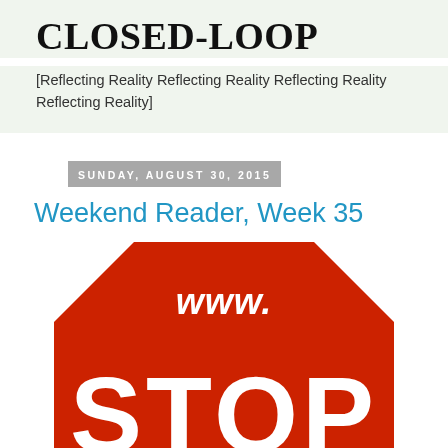CLOSED-LOOP
[Reflecting Reality Reflecting Reality Reflecting Reality Reflecting Reality]
SUNDAY, AUGUST 30, 2015
Weekend Reader, Week 35
[Figure (illustration): A red stop-sign octagon shape with white hand-drawn text reading 'www.' at the top and 'STOP' in large letters below, cropped at the bottom of the page.]